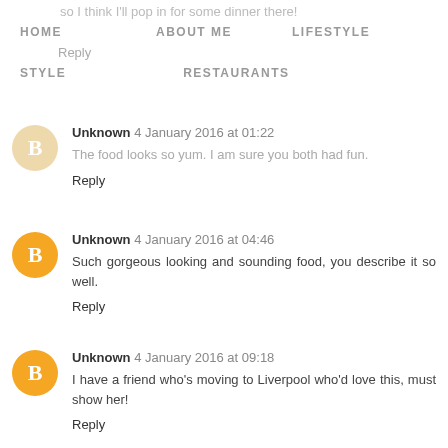so I think I'll pop in for some dinner there!
HOME   ABOUT ME   LIFESTYLE   STYLE   RESTAURANTS   TRAVEL
Reply
Unknown 4 January 2016 at 01:22
The food looks so yum. I am sure you both had fun.
Reply
Unknown 4 January 2016 at 04:46
Such gorgeous looking and sounding food, you describe it so well.
Reply
Unknown 4 January 2016 at 09:18
I have a friend who's moving to Liverpool who'd love this, must show her!
Reply